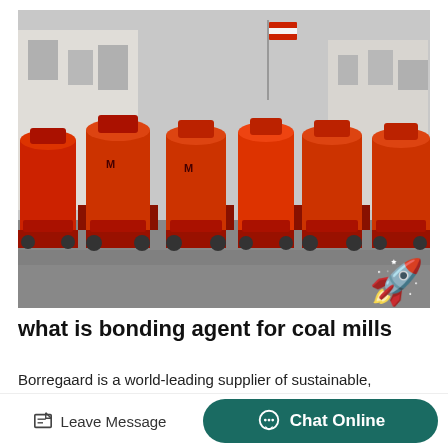[Figure (photo): Row of large orange industrial coal mill machines parked in a factory yard with industrial buildings in the background.]
what is bonding agent for coal mills
Borregaard is a world-leading supplier of sustainable, high-performance additives and ingredi...